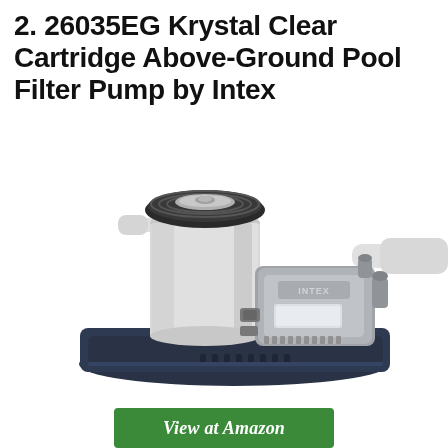2. 26035EG Krystal Clear Cartridge Above-Ground Pool Filter Pump by Intex
[Figure (photo): Photo of the Intex 26035EG Krystal Clear Cartridge Filter Pump for above-ground pools. The unit features a cylindrical white filter cartridge housing with a dark ribbed cap on top, a grey motor/pump unit with the INTEX logo, and a dark navy/charcoal base tray. White hose connectors are visible on the right side.]
View at Amazon